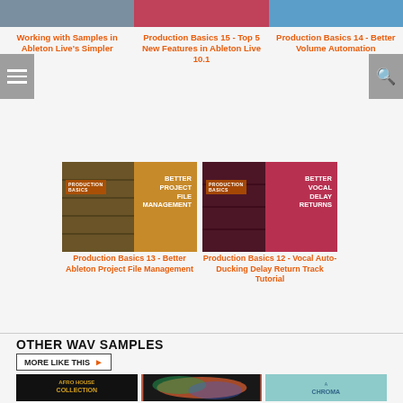[Figure (photo): Thumbnail for Working with Samples in Ableton Live's Simpler]
[Figure (photo): Thumbnail for Production Basics 15 - Top 5 New Features]
[Figure (photo): Thumbnail for Production Basics 14 - Better Volume Automation]
Working with Samples in Ableton Live's Simpler
Production Basics 15 - Top 5 New Features in Ableton Live 10.1
Production Basics 14 - Better Volume Automation
[Figure (photo): Production Basics thumbnail - Better Project File Management (orange)]
[Figure (photo): Production Basics thumbnail - Better Vocal Delay Returns (red)]
Production Basics 13 - Better Ableton Project File Management
Production Basics 12 - Vocal Auto-Ducking Delay Return Track Tutorial
OTHER WAV SAMPLES
MORE LIKE THIS
[Figure (photo): Afro House Collection sample pack thumbnail]
[Figure (photo): Colorful abstract sample pack thumbnail]
[Figure (photo): Chroma sample pack thumbnail]